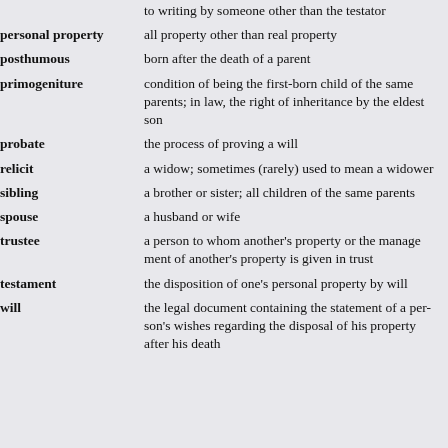to writing by someone other than the testator
personal property: all property other than real property
posthumous: born after the death of a parent
primogeniture: condition of being the first-born child of the same parents; in law, the right of inheritance by the eldest son
probate: the process of proving a will
relicit: a widow; sometimes (rarely) used to mean a widower
sibling: a brother or sister; all children of the same parents
spouse: a husband or wife
trustee: a person to whom another's property or the manage ment of another's property is given in trust
testament: the disposition of one's personal property by will
will: the legal document containing the statement of a per-son's wishes regarding the disposal of his property after his death